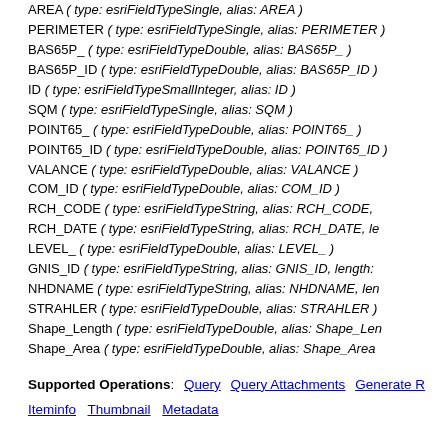AREA ( type: esriFieldTypeSingle, alias: AREA )
PERIMETER ( type: esriFieldTypeSingle, alias: PERIMETER )
BAS65P_ ( type: esriFieldTypeDouble, alias: BAS65P_ )
BAS65P_ID ( type: esriFieldTypeDouble, alias: BAS65P_ID )
ID ( type: esriFieldTypeSmallInteger, alias: ID )
SQM ( type: esriFieldTypeSingle, alias: SQM )
POINT65_ ( type: esriFieldTypeDouble, alias: POINT65_ )
POINT65_ID ( type: esriFieldTypeDouble, alias: POINT65_ID )
VALANCE ( type: esriFieldTypeDouble, alias: VALANCE )
COM_ID ( type: esriFieldTypeDouble, alias: COM_ID )
RCH_CODE ( type: esriFieldTypeString, alias: RCH_CODE, )
RCH_DATE ( type: esriFieldTypeString, alias: RCH_DATE, le )
LEVEL_ ( type: esriFieldTypeDouble, alias: LEVEL_ )
GNIS_ID ( type: esriFieldTypeString, alias: GNIS_ID, length: )
NHDNAME ( type: esriFieldTypeString, alias: NHDNAME, len )
STRAHLER ( type: esriFieldTypeDouble, alias: STRAHLER )
Shape_Length ( type: esriFieldTypeDouble, alias: Shape_Len )
Shape_Area ( type: esriFieldTypeDouble, alias: Shape_Area )
Supported Operations: Query  Query Attachments  Generate R
Iteminfo  Thumbnail  Metadata